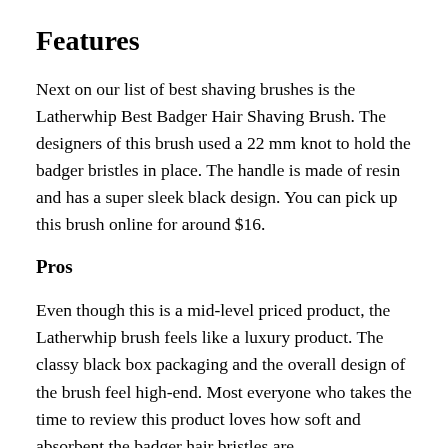Features
Next on our list of best shaving brushes is the Latherwhip Best Badger Hair Shaving Brush. The designers of this brush used a 22 mm knot to hold the badger bristles in place. The handle is made of resin and has a super sleek black design. You can pick up this brush online for around $16.
Pros
Even though this is a mid-level priced product, the Latherwhip brush feels like a luxury product. The classy black box packaging and the overall design of the brush feel high-end. Most everyone who takes the time to review this product loves how soft and absorbent the badger hair bristles are.